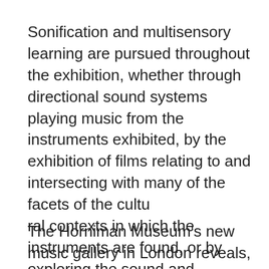Sonification and multisensory learning are pursued throughout the exhibition, whether through directional sound systems playing music from the instruments exhibited, by the exhibition of films relating to and intersecting with many of the facets of the cultu
ral contexts in which the instruments are found, or by exploring the sound and additional knowledge of a selection of instruments through interactive displays.
The Horniman Museum's new music gallery in London reveals, it seems to me, how a